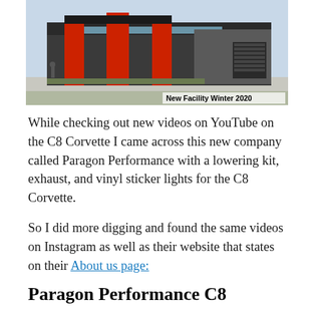[Figure (photo): Architectural rendering of a modern commercial building with red pillars and dark metal siding. Caption reads 'New Facility Winter 2020'.]
While checking out new videos on YouTube on the C8 Corvette I came across this new company called Paragon Performance with a lowering kit, exhaust, and vinyl sticker lights for the C8 Corvette.
So I did more digging and found the same videos on Instagram as well as their website that states on their About us page:
Paragon Performance C8